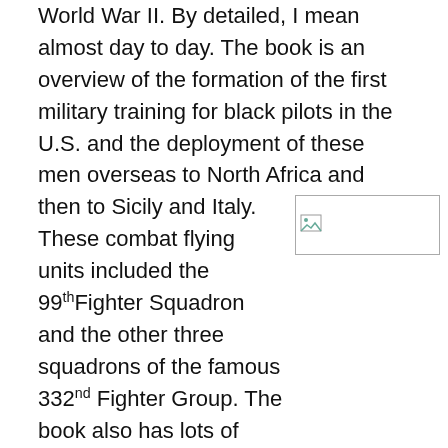World War II. By detailed, I mean almost day to day. The book is an overview of the formation of the first military training for black pilots in the U.S. and the deployment of these men overseas to North Africa and then to Sicily and Italy. These combat flying units included the 99th Fighter Squadron and the other three squadrons of the famous 332nd Fighter Group. The book also has lots of information about the many Tuskegee Airmen who were not fighter pilots (including the thousands of black men and women who worked as
[Figure (photo): Broken/missing image placeholder with small image icon in top-left corner]